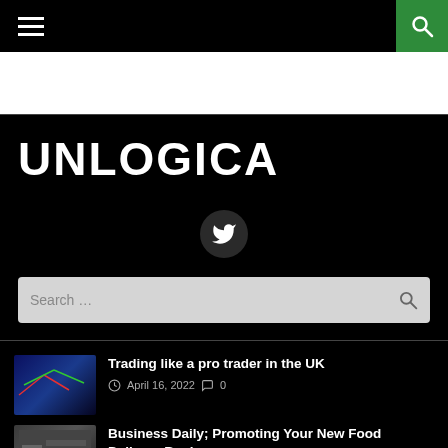UNLOGICA - navigation bar with hamburger menu and search icon
UNLOGICA
[Figure (logo): Twitter bird icon in dark circle]
Search ...
Trading like a pro trader in the UK — April 16, 2022 — 0 comments
Business Daily; Promoting Your New Food Delivery Business